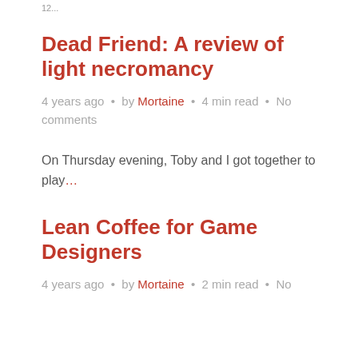12...
Dead Friend: A review of light necromancy
4 years ago • by Mortaine • 4 min read • No comments
On Thursday evening, Toby and I got together to play…
Lean Coffee for Game Designers
4 years ago • by Mortaine • 2 min read • No